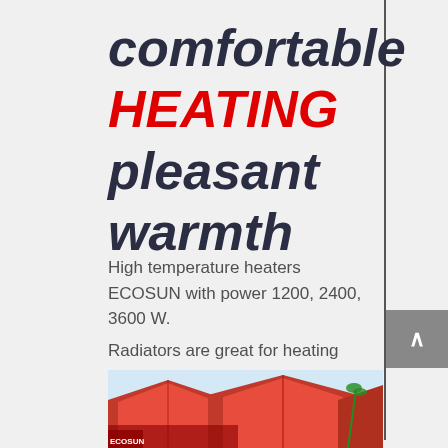comfortable HEATING pleasant warmth
High temperature heaters ECOSUN with power 1200, 2400, 3600 W.
Radiators are great for heating restaurant tents, winter gardens. They are also suitable for ensuring thermal comfort in the zone (diameter = height) for both indoor and outdoor areas, e.g. on ramps loading and stands.
[Figure (photo): Photo of restaurant tents or outdoor heated area with red tent canopies]